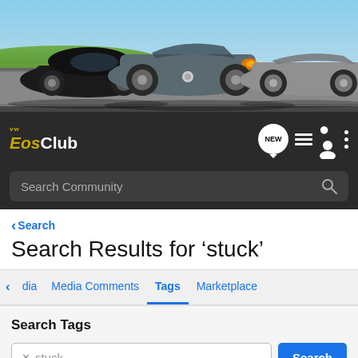[Figure (photo): Hero banner showing three Volkswagen Eos cars parked on a road with a green field and blue sky background]
[Figure (screenshot): VW Eos Club navigation bar with logo, NEW badge, menu icons, search bar, and community navigation]
< Search
Search Results for ‘stuck’
dia | Media Comments | Tags | Marketplace
Search Tags
stuck